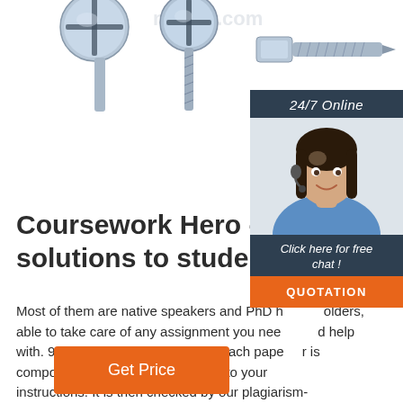[Figure (photo): Three metallic screws on a white background — a flat-head Phillips screw, a countersunk Phillips screw, and a self-drilling screw viewed from the side.]
[Figure (photo): Customer support agent — a smiling young woman with dark hair wearing a headset and blue shirt, with a '24/7 Online' banner and a 'Click here for free chat!' overlay with a QUOTATION button.]
Coursework Hero - We provide solutions to students
Most of them are native speakers and PhD holders, able to take care of any assignment you need help with. 969k. original pages written. Each paper is composed from scratch, according to your instructions. It is then checked by our plagiarism-detection software. ... You may also provide any files that will be necessary or useful in completing ...
Get Price